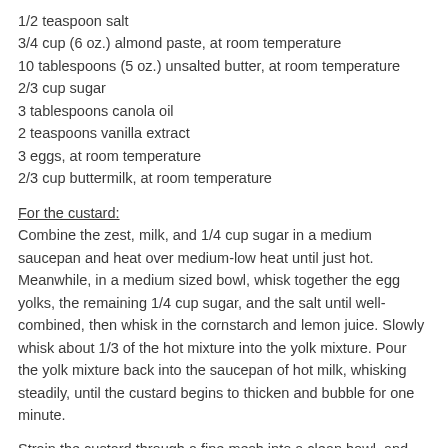1/2 teaspoon salt
3/4 cup (6 oz.) almond paste, at room temperature
10 tablespoons (5 oz.) unsalted butter, at room temperature
2/3 cup sugar
3 tablespoons canola oil
2 teaspoons vanilla extract
3 eggs, at room temperature
2/3 cup buttermilk, at room temperature
For the custard:
Combine the zest, milk, and 1/4 cup sugar in a medium saucepan and heat over medium-low heat until just hot. Meanwhile, in a medium sized bowl, whisk together the egg yolks, the remaining 1/4 cup sugar, and the salt until well-combined, then whisk in the cornstarch and lemon juice. Slowly whisk about 1/3 of the hot mixture into the yolk mixture. Pour the yolk mixture back into the saucepan of hot milk, whisking steadily, until the custard begins to thicken and bubble for one minute.
Strain the custard through a fine mesh into a clean bowl, and whisk in the butter until melted. Place a piece of plastic wrap directly on the surface of the custard and refrigerate for at...